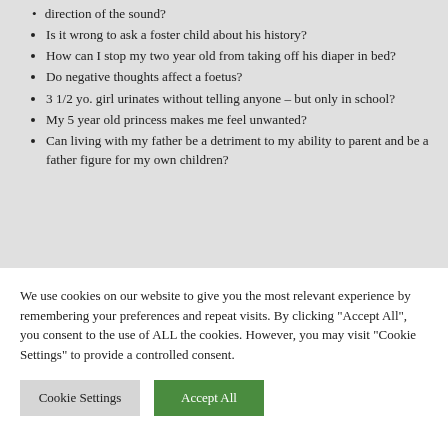direction of the sound?
Is it wrong to ask a foster child about his history?
How can I stop my two year old from taking off his diaper in bed?
Do negative thoughts affect a foetus?
3 1/2 yo. girl urinates without telling anyone – but only in school?
My 5 year old princess makes me feel unwanted?
Can living with my father be a detriment to my ability to parent and be a father figure for my own children?
We use cookies on our website to give you the most relevant experience by remembering your preferences and repeat visits. By clicking "Accept All", you consent to the use of ALL the cookies. However, you may visit "Cookie Settings" to provide a controlled consent.